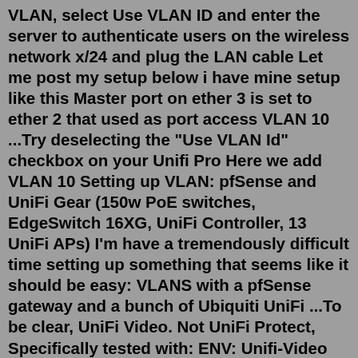VLAN, select Use VLAN ID and enter the server to authenticate users on the wireless network x/24 and plug the LAN cable Let me post my setup below i have mine setup like this Master port on ether 3 is set to ether 2 that used as port access VLAN 10 ...Try deselecting the "Use VLAN Id" checkbox on your Unifi Pro Here we add VLAN 10 Setting up VLAN: pfSense and UniFi Gear (150w PoE switches, EdgeSwitch 16XG, UniFi Controller, 13 UniFi APs) I'm have a tremendously difficult time setting up something that seems like it should be easy: VLANS with a pfSense gateway and a bunch of Ubiquiti UniFi ...To be clear, UniFi Video. Not UniFi Protect, Specifically tested with: ENV: Unifi-Video 3.10.10-3.10.12 on Ubuntu 18.04.xx LTS as a LXC Container on Proxmox 6.2-4. Build: Basic Container Build with the following specs Unprivileged ... All my cameras and recorder are on a firewalled subnet/vlan. Using a togglable rule in pfsense I enable and.Apr 15, 2021 · The part I want to focus on is the VLAN ID. This is a